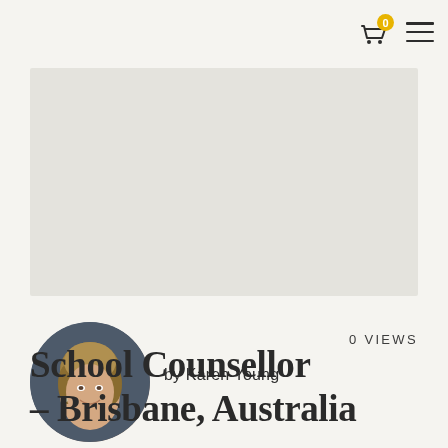[Figure (screenshot): Navigation bar with shopping cart icon showing badge '0' and hamburger menu icon on the right side]
[Figure (photo): Light grey rectangular banner/hero image placeholder area]
[Figure (photo): Circular profile photo of Karen Young, a woman with blonde hair smiling, dark background]
by Karen Young
0 VIEWS
School Counsellor – Brisbane, Australia